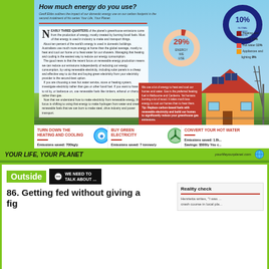How much energy do you use?
Geoff Ebbs outlines the impact of our domestic energy use on our carbon footprint in the second instalment of his series Your Life, Your Planet.
[Figure (donut-chart): Donut chart showing 10% of global energy used in domestic buildings]
NEARLY THREE-QUARTERS of the planet's greenhouse emissions come from the production of energy, mostly created by burning fossil fuels. Most of that energy is used in industry to make and transport things. About ten percent of the world's energy is used in domestic buildings. Australians use much more energy at home than the global average, mostly to heat and cool our home or to heat water for our showers. Managing that heating and cooling is the easiest way to reduce our energy consumption. The good news is that the recent focus on renewable energy production means we can reduce our emissions independently of reducing our energy consumption, by using renewable electricity, including solar panels is a cheap and effective way to do that and buying green electricity from your electricity provider is the second-best option. If you are choosing a new hot water service, stove or heating system, investigate electricity rather than gas or other fossil fuel. If you want to have a fire to sit by, or barbecue on, use renewable fuels like timbers, ethanol or charcoal, rather than gas. Now that we understand how to make electricity from renewable energy, the focus is shifting to using that energy to make hydrogen from water and create renewable fuels that we can burn to make steel, drive industry and power transport.
[Figure (donut-chart): Donut chart showing 29% energy we use breakdown]
Heating and cooling 13%, Hot water 11%, Appliances and lighting 9%
[Figure (infographic): Household energy infographic with house illustration and solar panels]
We use a lot of energy to heat and cool our homes and water. Gas is the preferred heating fuel in Melbourne and Canberra. Yet humans burning a lot of wood. It takes much less energy to cool our homes than to hear them. Tip: Replace carbon-based fuels with renewable electricity and build our homes to significantly reduce your greenhouse gas emissions.
TURN DOWN THE HEATING AND COOLING
Emissions saved: 700kg/y Savings: $200/y Your earn: +$280/t
TAKE ACTION: Use your house climate control to take the edge off the heat waves and the cold snaps of winter, that no reverse the seasons. Do better for your health as well.
BUY GREEN ELECTRICITY
Emissions saved: 7 tonnes/y Cost: 6c/kWh - $420/y You pay $60/t
TAKE ACTION: If you buy green electricity your supplier must replace that much coal fired power with renewables. That's why the coal plants are shutting down early.
CONVERT YOUR HOT WATER
Emissions saved: 1.8t... Savings: $500/y You c...
TAKE ACTION: When you need a new hot water electric or solar rather than gas. hor is more responsible for the small amount...
YOUR LIFE, YOUR PLANET
yourlifeyourplanet.com
Outside
WE NEED TO TALK ABOUT ...
86. Getting fed without giving a fig
Reality check
Henrietta writes, "I was ... crash course in local pla...